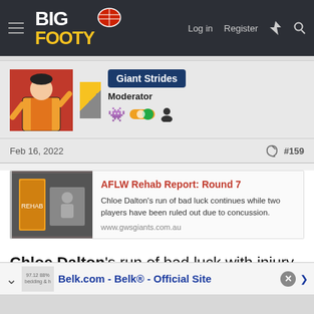BigFooty — Log in  Register
Giant Strides
Moderator
Feb 16, 2022  #159
AFLW Rehab Report: Round 7
Chloe Dalton's run of bad luck continues while two players have been ruled out due to concussion.
www.gwsgiants.com.au
Chloe Dalton's run of bad luck with injury has taken another turn, with the star recruit sustaining a calf strain in
Belk.com - Belk® - Official Site